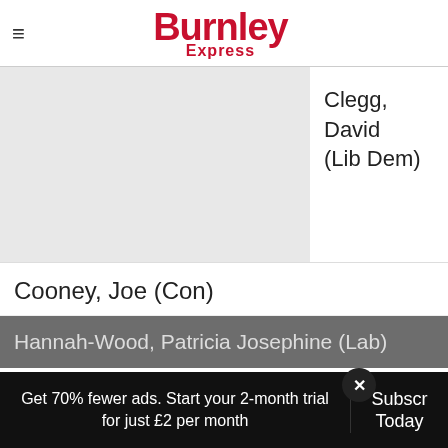Burnley Express
[Figure (photo): Grey placeholder photo box for candidate David Clegg]
Clegg, David (Lib Dem)
Cooney, Joe (Con)
Hannah-Wood, Patricia Josephine (Lab)
Get 70% fewer ads. Start your 2-month trial for just £2 per month
Subscribe Today